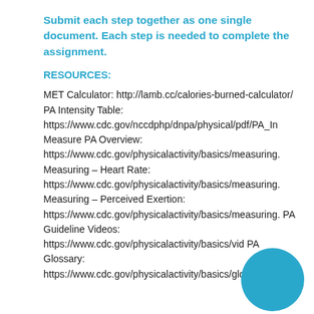Submit each step together as one single document. Each step is needed to complete the assignment.
RESOURCES:
MET Calculator: http://lamb.cc/calories-burned-calculator/ PA Intensity Table: https://www.cdc.gov/nccdphp/dnpa/physical/pdf/PA_In Measure PA Overview: https://www.cdc.gov/physicalactivity/basics/measuring. Measuring – Heart Rate: https://www.cdc.gov/physicalactivity/basics/measuring. Measuring – Perceived Exertion: https://www.cdc.gov/physicalactivity/basics/measuring. PA Guideline Videos: https://www.cdc.gov/physicalactivity/basics/vid PA Glossary: https://www.cdc.gov/physicalactivity/basics/glossary/ir